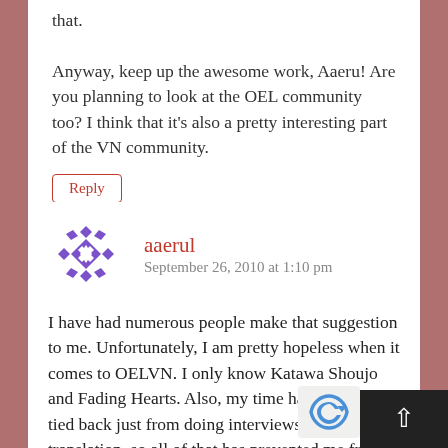that. Anyway, keep up the awesome work, Aaeru! Are you planning to look at the OEL community too? I think that it's also a pretty interesting part of the VN community.
Reply
aaerul
September 26, 2010 at 1:10 pm
I have had numerous people make that suggestion to me. Unfortunately, I am pretty hopeless when it comes to OELVN. I only know Katawa Shoujo and Fading Hearts. Also, my time has been pretty tied back just from doing interviews for fan translation, so all of that has prevented me from branching out. I will eventually get to it and meanwhile, if you can leave me some suggestion